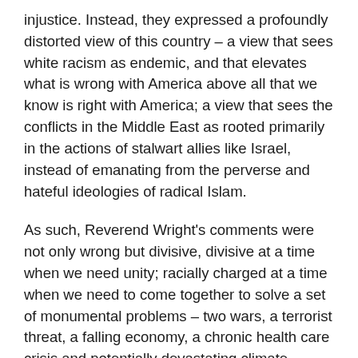injustice. Instead, they expressed a profoundly distorted view of this country – a view that sees white racism as endemic, and that elevates what is wrong with America above all that we know is right with America; a view that sees the conflicts in the Middle East as rooted primarily in the actions of stalwart allies like Israel, instead of emanating from the perverse and hateful ideologies of radical Islam.
As such, Reverend Wright's comments were not only wrong but divisive, divisive at a time when we need unity; racially charged at a time when we need to come together to solve a set of monumental problems – two wars, a terrorist threat, a falling economy, a chronic health care crisis and potentially devastating climate change; problems that are neither black or white or Latino or Asian, but rather problems that confront us all.
Given such...